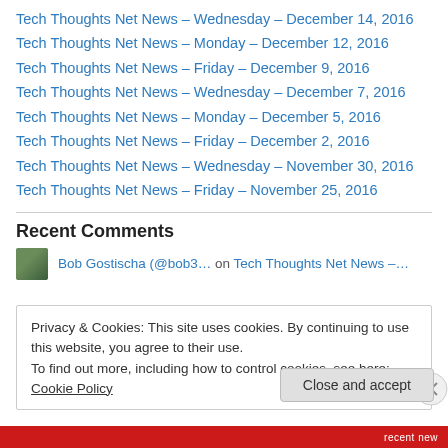Tech Thoughts Net News – Wednesday – December 14, 2016
Tech Thoughts Net News – Monday – December 12, 2016
Tech Thoughts Net News – Friday – December 9, 2016
Tech Thoughts Net News – Wednesday – December 7, 2016
Tech Thoughts Net News – Monday – December 5, 2016
Tech Thoughts Net News – Friday – December 2, 2016
Tech Thoughts Net News – Wednesday – November 30, 2016
Tech Thoughts Net News – Friday – November 25, 2016
Recent Comments
Bob Gostischa (@bob3… on Tech Thoughts Net News –…
Privacy & Cookies: This site uses cookies. By continuing to use this website, you agree to their use.
To find out more, including how to control cookies, see here: Cookie Policy